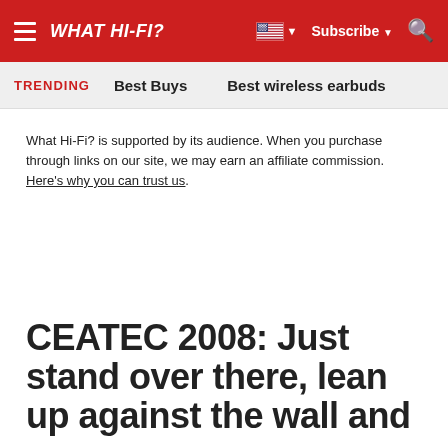WHAT HI-FI? Subscribe
TRENDING   Best Buys   Best wireless earbuds
What Hi-Fi? is supported by its audience. When you purchase through links on our site, we may earn an affiliate commission. Here's why you can trust us.
CEATEC 2008: Just stand over there, lean up against the wall and